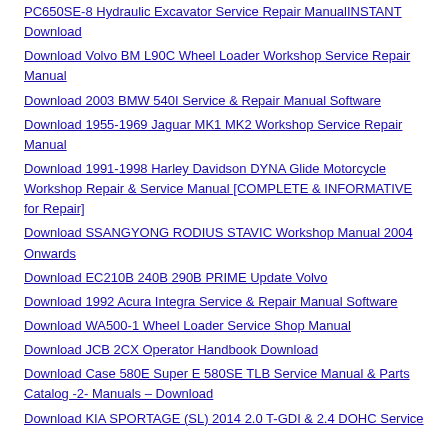PC650SE-8 Hydraulic Excavator Service Repair ManualINSTANT Download
Download Volvo BM L90C Wheel Loader Workshop Service Repair Manual
Download 2003 BMW 540I Service & Repair Manual Software
Download 1955-1969 Jaguar MK1 MK2 Workshop Service Repair Manual
Download 1991-1998 Harley Davidson DYNA Glide Motorcycle Workshop Repair & Service Manual [COMPLETE & INFORMATIVE for Repair]
Download SSANGYONG RODIUS STAVIC Workshop Manual 2004 Onwards
Download EC210B 240B 290B PRIME Update Volvo
Download 1992 Acura Integra Service & Repair Manual Software
Download WA500-1 Wheel Loader Service Shop Manual
Download JCB 2CX Operator Handbook Download
Download Case 580E Super E 580SE TLB Service Manual & Parts Catalog -2- Manuals – Download
Download KIA SPORTAGE (SL) 2014 2.0 T-GDI & 2.4 DOHC Service